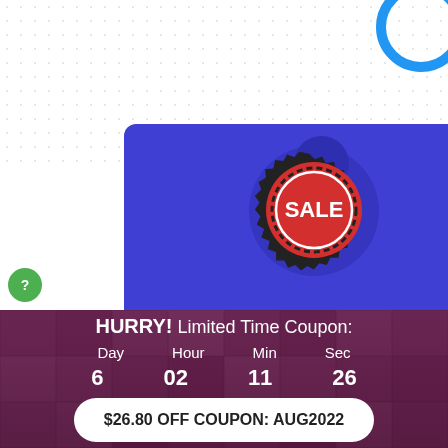[Figure (infographic): Sale badge on a blue promotional card showing Regular Price $197 and Special Price Today $67]
Regular Price $197
Special Price
Today $67
HURRY! Limited Time Coupon:
Day 6  Hour 02  Min 11  Sec 26
$26.80 OFF COUPON: AUG2022